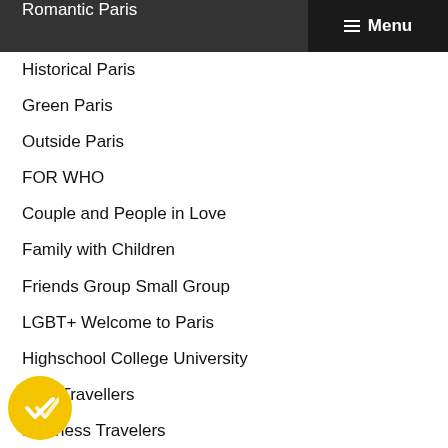Romantic Paris | Menu
Historical Paris
Green Paris
Outside Paris
FOR WHO
Couple and People in Love
Family with Children
Friends Group Small Group
LGBT+ Welcome to Paris
Highschool College University
Solo Travellers
Business Travelers
HINT
What to do in Paris
Top Things to do in Paris
Guide Paris sightseeing
Must See in Paris